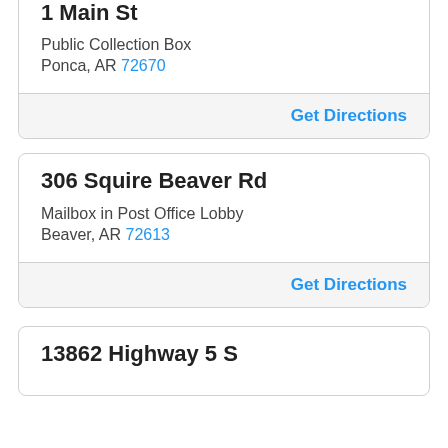1 Main St
Public Collection Box
Ponca, AR 72670
Get Directions
306 Squire Beaver Rd
Mailbox in Post Office Lobby
Beaver, AR 72613
Get Directions
13862 Highway 5 S